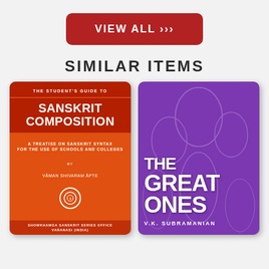VIEW ALL >>>
SIMILAR ITEMS
[Figure (illustration): Book cover: The Student's Guide to Sanskrit Composition by Vaman Shivaram Apte, orange and red cover, Showkhamga Sanskrit Series Office, Varanasi (India)]
[Figure (illustration): Book cover: The Great Ones by V.K. Subramanian, purple cover with illustrated figures]